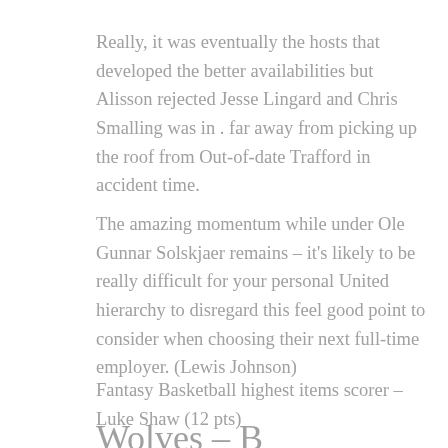Really, it was eventually the hosts that developed the better availabilities but Alisson rejected Jesse Lingard and Chris Smalling was in . far away from picking up the roof from Out-of-date Trafford in accident time.
The amazing momentum while under Ole Gunnar Solskjaer remains – it's likely to be really difficult for your personal United hierarchy to disregard this feel good point to consider when choosing their next full-time employer. (Lewis Johnson)
Fantasy Basketball highest items scorer – Luke Shaw (12 pts)
Wolves – B